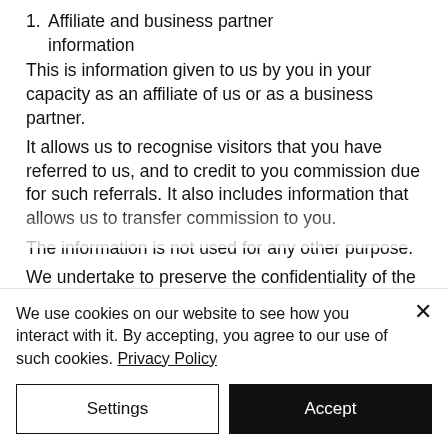1. Affiliate and business partner information
This is information given to us by you in your capacity as an affiliate of us or as a business partner.
It allows us to recognise visitors that you have referred to us, and to credit to you commission due for such referrals. It also includes information that allows us to transfer commission to you.
The information is not used for any other purpose.
We undertake to preserve the confidentiality of the information and of the terms of our relationship.
We use cookies on our website to see how you interact with it. By accepting, you agree to our use of such cookies. Privacy Policy